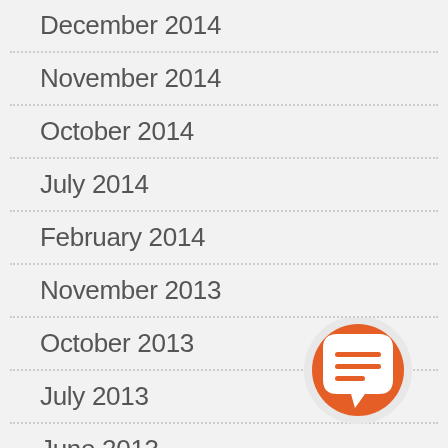December 2014
November 2014
October 2014
July 2014
February 2014
November 2013
October 2013
July 2013
June 2013
May 2013
[Figure (illustration): Orange circular chat/messaging icon with speech bubble and horizontal lines]